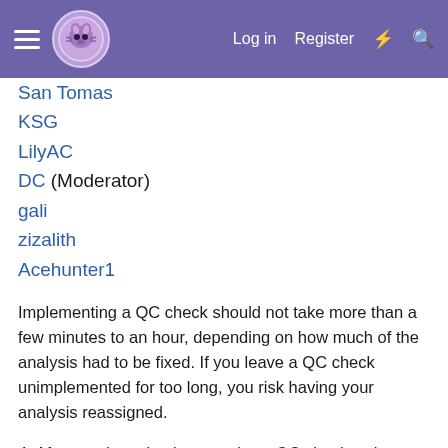Log in  Register
San Tomas
KSG
LilyAC
DC (Moderator)
gali
zizalith
Acehunter1
Implementing a QC check should not take more than a few minutes to an hour, depending on how much of the analysis had to be fixed. If you leave a QC check unimplemented for too long, you risk having your analysis reassigned.
4. After you have implemented two QC checks, change the thread status to GP and implement the GP checks that are posted in your thread.
Implementing amateur GP checks is optional, but you should fully implement the actual GP checks. Similarly to the QC